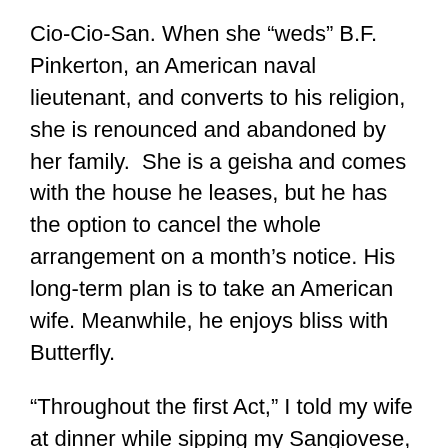Cio-Cio-San. When she “weds” B.F. Pinkerton, an American naval lieutenant, and converts to his religion, she is renounced and abandoned by her family.  She is a geisha and comes with the house he leases, but he has the option to cancel the whole arrangement on a month’s notice. His long-term plan is to take an American wife. Meanwhile, he enjoys bliss with Butterfly.
“Throughout the first Act,” I told my wife at dinner while sipping my Sangiovese, “I was thinking, ‘Cad! Cad!’”
Eventually, his ship departs, and he has the American consulate continue paying the rent. Three years later, Cio-Cio-San is running out of money. She spurns a marriage proposal from a wealthy Japanese man, certain of Pinkerton’s love and eventual return. Sure enough, his ship again sails into Nagasaki, but he has brought his